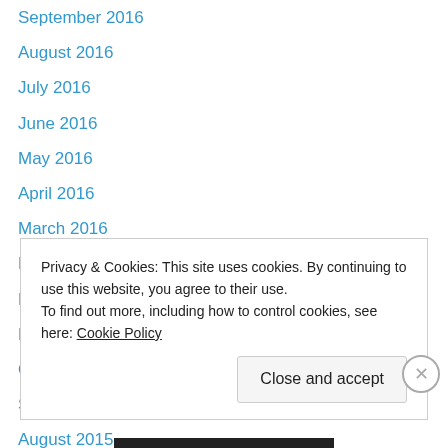September 2016
August 2016
July 2016
June 2016
May 2016
April 2016
March 2016
February 2016
December 2015
November 2015
October 2015
September 2015
August 2015
Privacy & Cookies: This site uses cookies. By continuing to use this website, you agree to their use. To find out more, including how to control cookies, see here: Cookie Policy
Close and accept